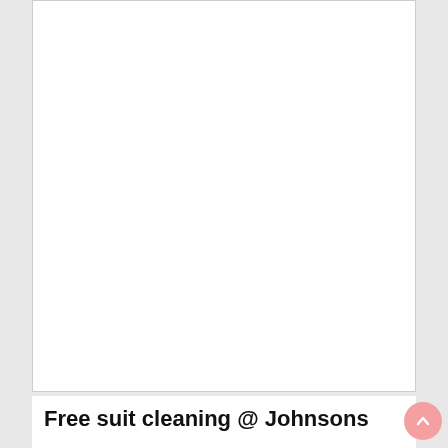[Figure (photo): White empty card/image placeholder area with light border on grey background]
Free suit cleaning @ Johnsons